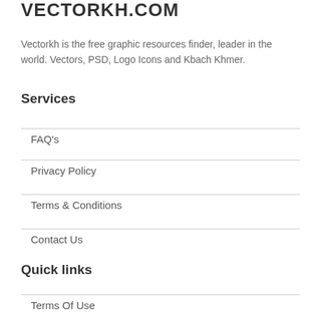VECTORKH.COM
Vectorkh is the free graphic resources finder, leader in the world. Vectors, PSD, Logo Icons and Kbach Khmer.
Services
FAQ's
Privacy Policy
Terms & Conditions
Contact Us
Quick links
Terms Of Use
Privacy Policy